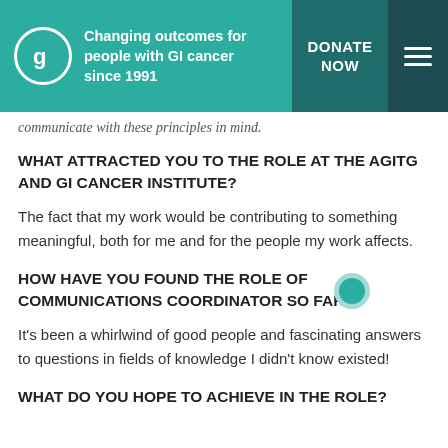Changing outcomes for people with GI cancer since 1991 | DONATE NOW
communicate with these principles in mind.
WHAT ATTRACTED YOU TO THE ROLE AT THE AGITG AND GI CANCER INSTITUTE?
The fact that my work would be contributing to something meaningful, both for me and for the people my work affects.
HOW HAVE YOU FOUND THE ROLE OF COMMUNICATIONS COORDINATOR SO FAR?
It's been a whirlwind of good people and fascinating answers to questions in fields of knowledge I didn't know existed!
WHAT DO YOU HOPE TO ACHIEVE IN THE ROLE?